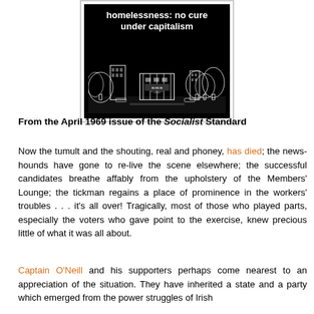[Figure (illustration): Black and white poster/illustration showing a cityscape with buildings and trees, with text 'homelessness: no cure under capitalism' in white on black background]
From the April 1969 issue of the Socialist Standard
Now the tumult and the shouting, real and phoney, has died; the news-hounds have gone to re-live the scene elsewhere; the successful candidates breathe affably from the upholstery of the Members' Lounge; the tickman regains a place of prominence in the workers' troubles . . . it's all over! Tragically, most of those who played parts, especially the voters who gave point to the exercise, knew precious little of what it was all about.
Captain O'Neill and his supporters perhaps come nearest to an appreciation of the situation. They have inherited a state and a party which emerged from the power struggles of Irish